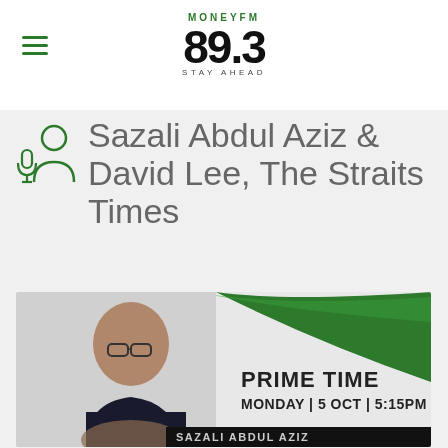[Figure (logo): MoneyFM 89.3 Stay Ahead radio station logo with hamburger menu icon]
Sazali Abdul Aziz & David Lee, The Straits Times
[Figure (photo): Prime Time promotional banner showing a man with glasses, text: PRIME TIME MONDAY | 5 OCT | 5:15PM, with green swoosh background]
ON AIR  LOVE ME NOW
[Figure (logo): Available on the App Store badge (Apple App Store)]
[Figure (other): Play button with radial burst design]